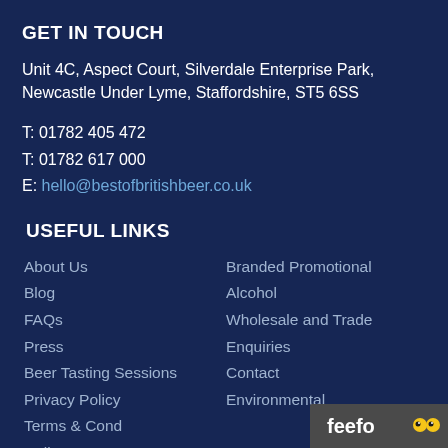GET IN TOUCH
Unit 4C, Aspect Court, Silverdale Enterprise Park, Newcastle Under Lyme, Staffordshire, ST5 6SS
T: 01782 405 472
T: 01782 617 000
E: hello@bestofbritishbeer.co.uk
USEFUL LINKS
About Us
Blog
FAQs
Press
Beer Tasting Sessions
Privacy Policy
Terms & Cond
Delivery
Branded Promotional
Alcohol
Wholesale and Trade
Enquiries
Contact
Environmental
[Figure (logo): Feefo Reviews badge with yellow circular logo eyes and white text reading 'feefo Reviews']